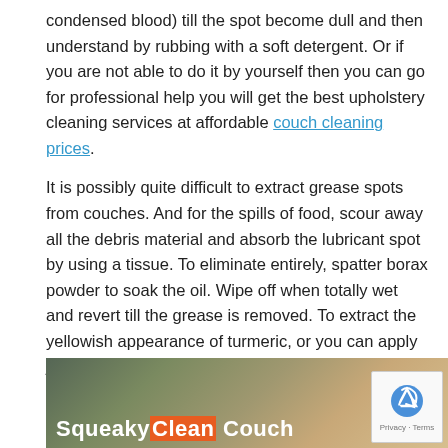condensed blood) till the spot become dull and then understand by rubbing with a soft detergent. Or if you are not able to do it by yourself then you can go for professional help you will get the best upholstery cleaning services at affordable couch cleaning prices.
It is possibly quite difficult to extract grease spots from couches. And for the spills of food, scour away all the debris material and absorb the lubricant spot by using a tissue. To eliminate entirely, spatter borax powder to soak the oil. Wipe off when totally wet and revert till the grease is removed. To extract the yellowish appearance of turmeric, or you can apply juice of lemon or white acetum. Lipstick is different oily stain and can be given out with any nail shine remover or thinner weaker in water (1:1) to wash it away.
[Figure (photo): Photo of a couch being cleaned, with 'Squeaky Clean Couch' text overlay. 'Clean' is highlighted in orange.]